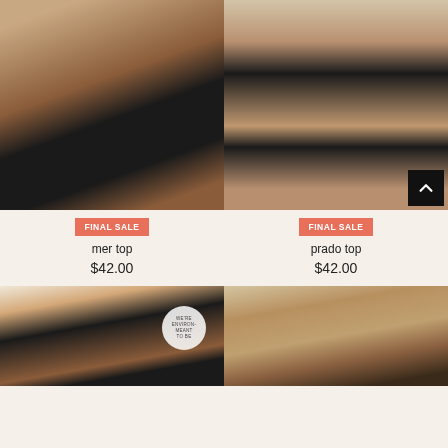[Figure (photo): Model wearing black bikini top (mer top) seated pose on light background]
[Figure (photo): Model wearing black bandeau bikini top (prado top) standing pose on light background with back-to-top button overlay]
FINAL SALE
mer top
$42.00
FINAL SALE
prado top
$42.00
[Figure (photo): Model wearing dark swimwear with eco badge overlay reading WE'RE ENVIRON-MEANT TO BE]
[Figure (photo): Model with curly hair wearing swimwear on light background]